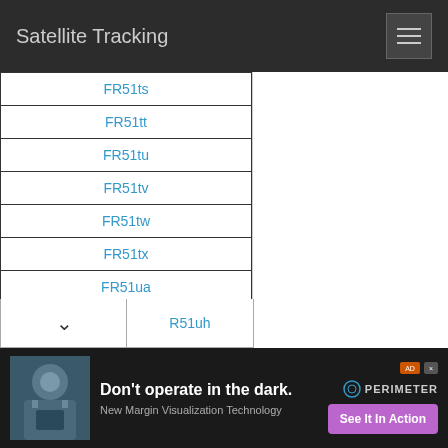Satellite Tracking
FR51ts
FR51tt
FR51tu
FR51tv
FR51tw
FR51tx
FR51ua
FR51ub
FR51uc
FR51ud
FR51ue
FR51uf
FR51ug
R51uh
[Figure (infographic): Advertisement banner: Don't operate in the dark. New Margin Visualization Technology. See It In Action button. PERIMETER logo.]